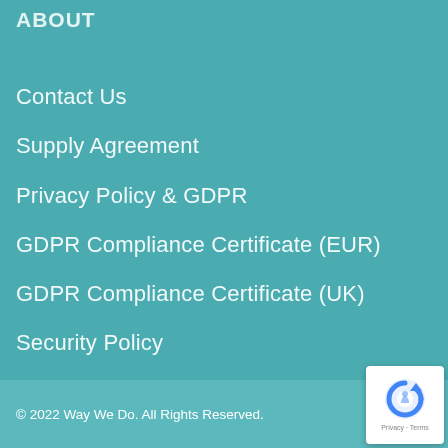ABOUT
Contact Us
Supply Agreement
Privacy Policy & GDPR
GDPR Compliance Certificate (EUR)
GDPR Compliance Certificate (UK)
Security Policy
© 2022 Way We Do. All Rights Reserved.
[Figure (logo): reCAPTCHA badge showing Privacy - Terms]